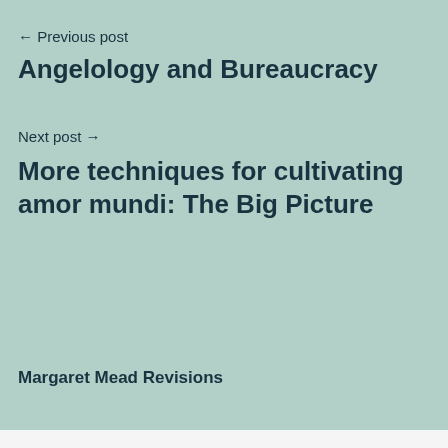← Previous post
Angelology and Bureaucracy
Next post →
More techniques for cultivating amor mundi: The Big Picture
Margaret Mead Revisions